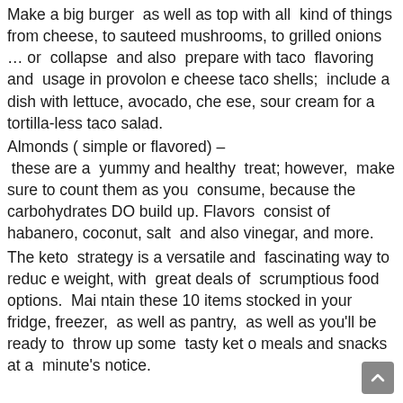Make a big burger as well as top with all kind of things from cheese, to sauteed mushrooms, to grilled onions … or collapse and also prepare with taco flavoring and usage in provolone cheese taco shells; include a dish with lettuce, avocado, cheese, sour cream for a tortilla-less taco salad.
Almonds ( simple or flavored) –
these are a yummy and healthy treat; however, make sure to count them as you consume, because the carbohydrates DO build up. Flavors consist of habanero, coconut, salt and also vinegar, and more.
The keto strategy is a versatile and fascinating way to reduce weight, with great deals of scrumptious food options. Maintain these 10 items stocked in your fridge, freezer, as well as pantry, as well as you'll be ready to throw up some tasty keto meals and snacks at a minute's notice.